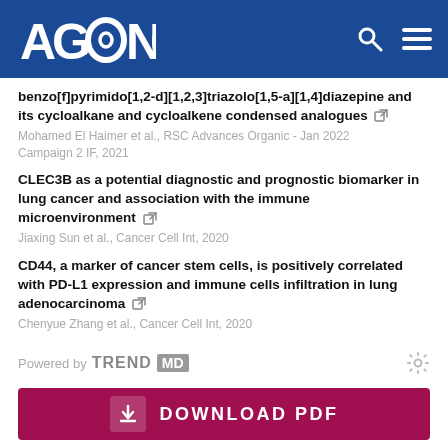AGING
benzo[f]pyrimido[1,2-d][1,2,3]triazolo[1,5-a][1,4]diazepine and its cycloalkane and cycloalkene condensed analogues
Mohamed El Haimer et al., RSC Advances Organic - Jan 2022 Campaign 2 IF, 2021
CLEC3B as a potential diagnostic and prognostic biomarker in lung cancer and association with the immune microenvironment
Jiaxing Sun et al., Cancer Cell Int, 2020
CD44, a marker of cancer stem cells, is positively correlated with PD-L1 expression and immune cells infiltration in lung adenocarcinoma
Chenyue Zhang et al., Cancer Cell Int, 2020
Powered by TRENDMD
DOWNLOAD PDF